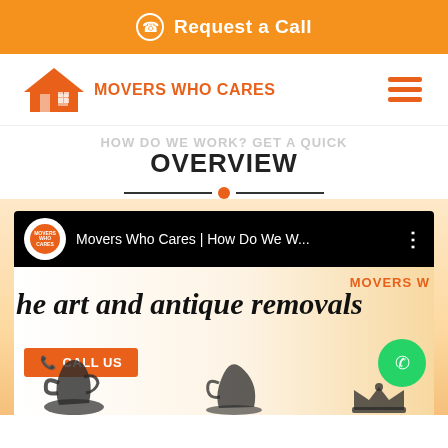Request a Call
[Figure (logo): Movers Who Cares logo with house icon]
HOW DO WE WORK? GET A QUICK OVERVIEW
[Figure (screenshot): YouTube video thumbnail showing 'Movers Who Cares | How Do We W...' with art and antique removals text, CALL US button, and WhatsApp button]